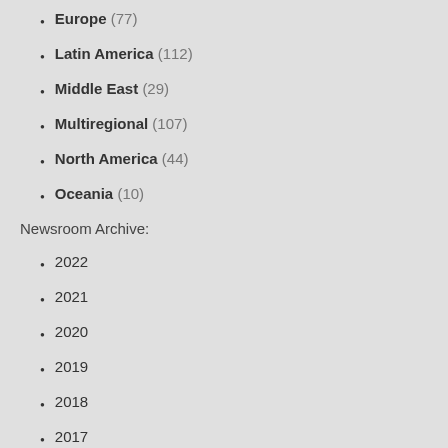Europe (77)
Latin America (112)
Middle East (29)
Multiregional (107)
North America (44)
Oceania (10)
Newsroom Archive:
2022
2021
2020
2019
2018
2017